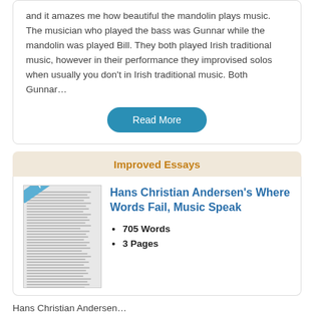and it amazes me how beautiful the mandolin plays music. The musician who played the bass was Gunnar while the mandolin was played Bill. They both played Irish traditional music, however in their performance they improvised solos when usually you don't in Irish traditional music. Both Gunnar…
Read More
Improved Essays
[Figure (photo): Preview thumbnail of a document page with blue diagonal 'Preview' ribbon]
Hans Christian Andersen's Where Words Fail, Music Speak
705 Words
3 Pages
Hans Christian Andersen…